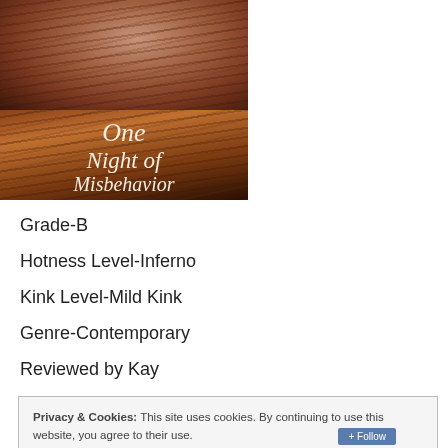[Figure (photo): Book cover of 'One Night of Misbehavior' with a woman with auburn/red hair on a dark background, title in italic script]
Grade-B
Hotness Level-Inferno
Kink Level-Mild Kink
Genre-Contemporary
Reviewed by Kay
Privacy & Cookies: This site uses cookies. By continuing to use this website, you agree to their use.
To find out more, including how to control cookies, see here: Cookie Policy